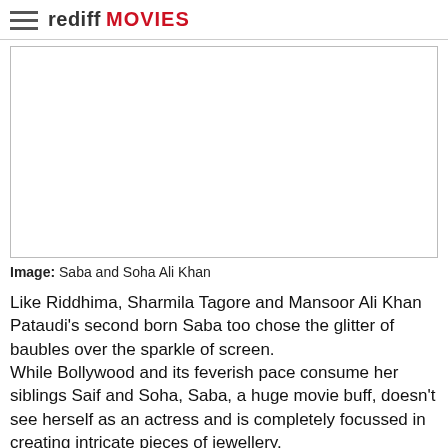rediff MOVIES
[Figure (photo): Blank white image placeholder for a photo of Saba and Soha Ali Khan]
Image: Saba and Soha Ali Khan
Like Riddhima, Sharmila Tagore and Mansoor Ali Khan Pataudi's second born Saba too chose the glitter of baubles over the sparkle of screen.
While Bollywood and its feverish pace consume her siblings Saif and Soha, Saba, a huge movie buff, doesn't see herself as an actress and is completely focussed in creating intricate pieces of jewellery.